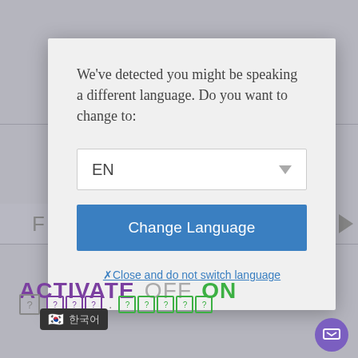[Figure (screenshot): A language-change dialog modal overlay on a website. The modal contains a message 'We've detected you might be speaking a different language. Do you want to change to:', a dropdown selector showing 'EN' with a downward arrow, a blue 'Change Language' button, and a link 'Close and do not switch language'. Behind the modal, partial UI elements are visible including 'ACTIVATE OFF ON' text and garbled characters suggesting Korean language glyphs.]